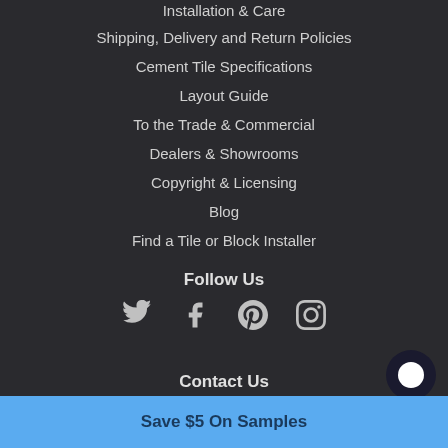Installation & Care
Shipping, Delivery and Return Policies
Cement Tile Specifications
Layout Guide
To the Trade & Commercial
Dealers & Showrooms
Copyright & Licensing
Blog
Find a Tile or Block Installer
Follow Us
[Figure (infographic): Social media icons: Twitter (bird), Facebook (f), Pinterest (P), Instagram (camera)]
Contact Us
Save $5 On Samples